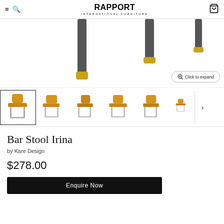RAPPORT INTERNATIONAL FURNITURE
[Figure (photo): Close-up of bar stool legs — dark metal legs with gold/brass feet tips against white background, partially cropped]
[Figure (photo): Thumbnail gallery of Bar Stool Irina in mustard/yellow velvet fabric from multiple angles — front-left, front, side, back-side, back, and small scale view]
Bar Stool Irina
by Kare Design
$278.00
Enquire Now